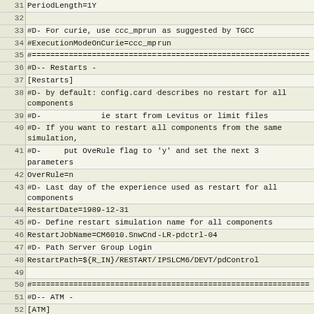Code listing lines 31-57: configuration file snippet showing PeriodLength, Restarts, and ATM sections
| Line | Code |
| --- | --- |
| 31 | PeriodLength=1Y |
| 32 |  |
| 33 | #D- For curie, use ccc_mprun as suggested by TGCC |
| 34 | #ExecutionModeOnCurie=ccc_mprun |
| 35 | #============================================================= |
| 36 | #D-- Restarts - |
| 37 | [Restarts] |
| 38 | #D- by default: config.card describes no restart for all components |
| 39 | #D-             ie start from Levitus or limit files |
| 40 | #D- If you want to restart all components from the same simulation, |
| 41 | #D-     put OveRule flag to 'y' and set the next 3 parameters |
| 42 | OverRule=n |
| 43 | #D- Last day of the experience used as restart for all components |
| 44 | RestartDate=1989-12-31 |
| 45 | #D- Define restart simulation name for all components |
| 46 | RestartJobName=CM6010.SnwCnd-LR-pdctrl-04 |
| 47 | #D- Path Server Group Login |
| 48 | RestartPath=${R_IN}/RESTART/IPSLCM6/DEVT/pdControl |
| 49 |  |
| 50 | #============================================================= |
| 51 | #D-- ATM - |
| 52 | [ATM] |
| 53 | WriteFrequency="1M 1D" |
| 54 | # If config_Restarts_OverRule == 'n' next 4 params are read |
| 55 | Restart= n |
| 56 | # Last day of the experience used as restart for this component if Restart=y |
| 57 | RestartDate=2319-12-31 |